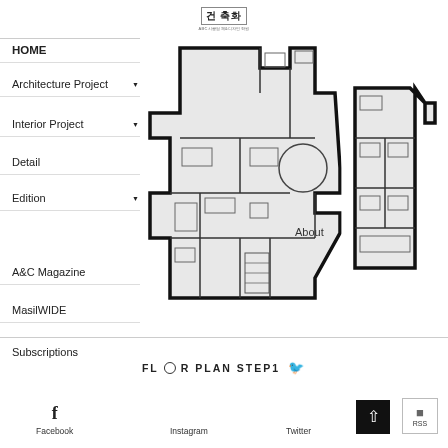[Figure (logo): Korean architectural website logo with characters 건축화 and subtitle text]
HOME
Architecture Project
Interior Project
Detail
Edition
A&C Magazine
MasilWIDE
[Figure (engineering-diagram): Architectural floor plan showing two building levels - left plan is a larger complex irregular shaped floor plan with multiple rooms, corridors, a circular element, and stairwells; right plan is a narrower rectangular floor plan with rooms arranged vertically. Both plans are drawn with thick black outlines on white background showing walls, openings, and interior fixtures in blueprint style.]
About
Subscriptions
FLOOR PLAN STEP1
Facebook
Instagram
Twitter
RSS